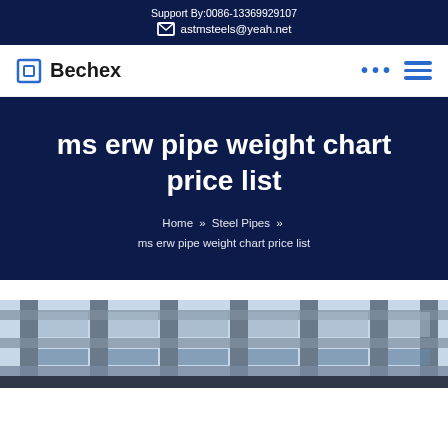Support By:0086-13369929107
astmsteels@yeah.net
Bechex
ms erw pipe weight chart price list
Home » Steel Pipes » ms erw pipe weight chart price list
[Figure (photo): Industrial steel pipe structure or warehouse interior with steel framing visible, photographed from a low angle showing structural steel elements against a light sky background.]